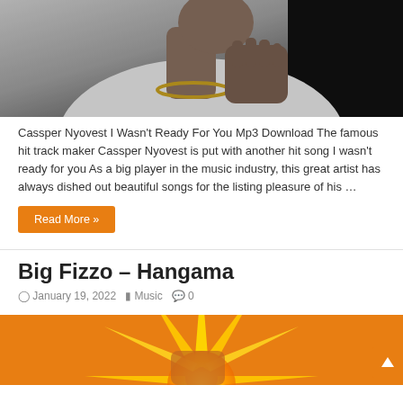[Figure (photo): Black and white photo of Cassper Nyovest, cropped to show neck and chin area with gold chain necklace and hands clasped near face]
Cassper Nyovest I Wasn't Ready For You Mp3 Download The famous hit track maker Cassper Nyovest is put with another hit song I wasn't ready for you As a big player in the music industry, this great artist has always dished out beautiful songs for the listing pleasure of his …
Read More »
Big Fizzo – Hangama
January 19, 2022  Music  0
[Figure (illustration): Colorful orange and yellow illustration/artwork, appears to be the cover art for Big Fizzo – Hangama, with sunburst design and partial figure visible]